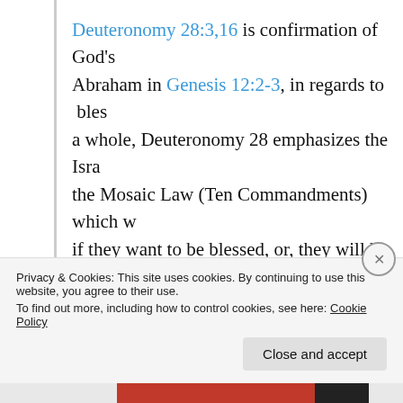Deuteronomy 28:3,16 is confirmation of God's Abraham in Genesis 12:2-3, in regards to bles a whole, Deuteronomy 28 emphasizes the Isra the Mosaic Law (Ten Commandments) which w if they want to be blessed, or, they will be cur disobedience.
So how does this particular cha us today?
Privacy & Cookies: This site uses cookies. By continuing to use this website, you agree to their use.
To find out more, including how to control cookies, see here: Cookie Policy